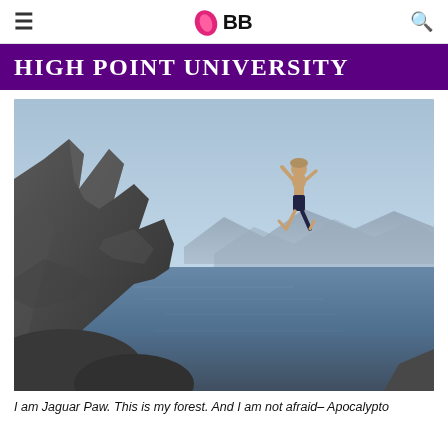IMBB (logo with hamburger menu and search icon)
[Figure (logo): IMBB logo with pink leaf shape and bold black text 'IMBB', flanked by hamburger menu icon on left and search icon on right]
[Figure (illustration): High Point University purple banner with white small-caps text 'HIGH POINT UNIVERSITY']
[Figure (photo): A person jumping/cliff diving from large boulders into a blue lake with mountains in the background under a clear sky]
I am Jaguar Paw. This is my forest. And I am not afraid– Apocalypto